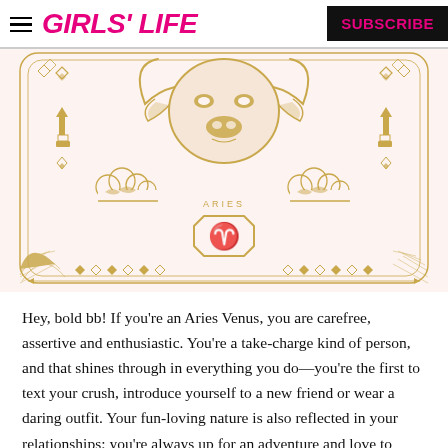GIRLS' LIFE  SUBSCRIBE
[Figure (illustration): Aries zodiac illustration card with gold line art on pale pink background, featuring a Taurus bull head at top center, Aries ram symbol in an octagon at the bottom center, decorative clouds, diamond shapes, arrows, dotted arc, and geometric border elements. Text 'ARIES' appears above the octagon symbol.]
Hey, bold bb! If you're an Aries Venus, you are carefree, assertive and enthusiastic. You're a take-charge kind of person, and that shines through in everything you do—you're the first to text your crush, introduce yourself to a new friend or wear a daring outfit. Your fun-loving nature is also reflected in your relationships; you're always up for an adventure and love to share that with the